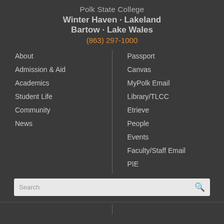Polk State College
Winter Haven · Lakeland
Bartow · Lake Wales
(863) 297-1000
About
Admission & Aid
Academics
Student Life
Community
News
Passport
Canvas
MyPolk Email
Library/TLCC
Etrieve
People
Events
Faculty/Staff Email
PIE